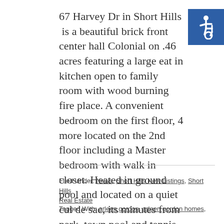[Figure (other): Accessibility icon — wheelchair symbol in white on blue background]
67 Harvey Dr in Short Hills is a beautiful brick front center hall Colonial on .46 acres featuring a large eat in kitchen open to family room with wood burning fire place. A convenient bedroom on the first floor, 4 more located on the 2nd floor including a Master bedroom with walk in closet. Heated in ground pool and located on a quiet cul de sac, its minutes from park, town pool and tennis courts!
Filed Under: News, Short Hills New Listings, Short Hills Real Estate
Tagged With: arleen gordon, arleen gordon homes,